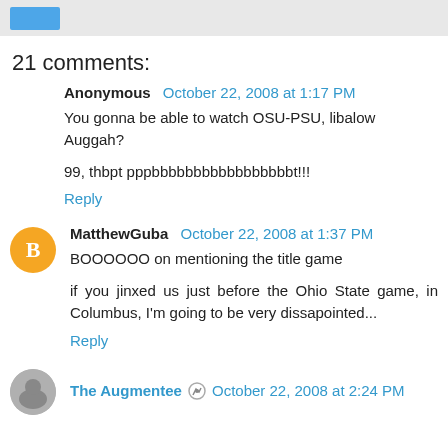[button]
21 comments:
Anonymous  October 22, 2008 at 1:17 PM
You gonna be able to watch OSU-PSU, libalow Auggah?

99, thbpt pppbbbbbbbbbbbbbbbbbt!!!
Reply
MatthewGuba  October 22, 2008 at 1:37 PM
BOOOOOO on mentioning the title game

if you jinxed us just before the Ohio State game, in Columbus, I'm going to be very dissapointed...
Reply
The Augmentee  October 22, 2008 at 2:24 PM